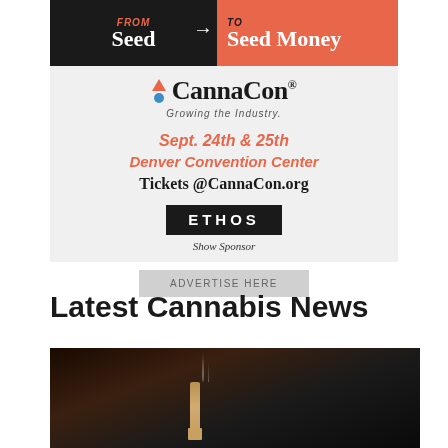[Figure (illustration): CannaCon advertisement. Header split black/coral reading 'From Seed to Seed Money'. Logo with triangle and circle icons, 'CannaCon® Growing the Industry.' tagline. Event details: Sept. 24th & 25th Denver Convention Center. Tickets @CannaCon.org. ETHOS Show Sponsor banner. Advertise Here button.]
Latest Cannabis News
[Figure (photo): Dark photo of a lit cigarette butt with smoke rising against dark background.]